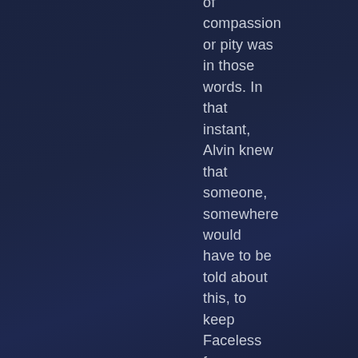of compassion or pity was in those words. In that instant, Alvin knew that someone, somewhere would have to be told about this, to keep Faceless from finding Vicki and